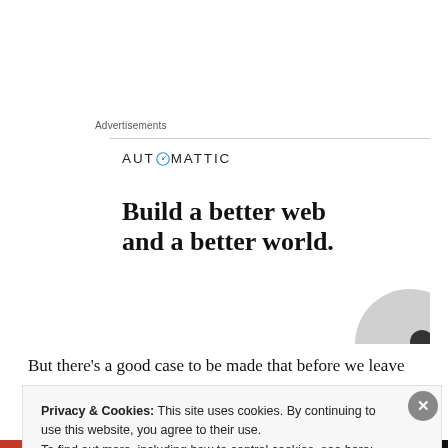Advertisements
[Figure (logo): Automattic logo with compass icon, tagline 'Build a better web and a better world.' and partial grey circle graphic]
But there’s a good case to be made that before we leave
Privacy & Cookies: This site uses cookies. By continuing to use this website, you agree to their use.
To find out more, including how to control cookies, see here: Cookie Policy
Close and accept